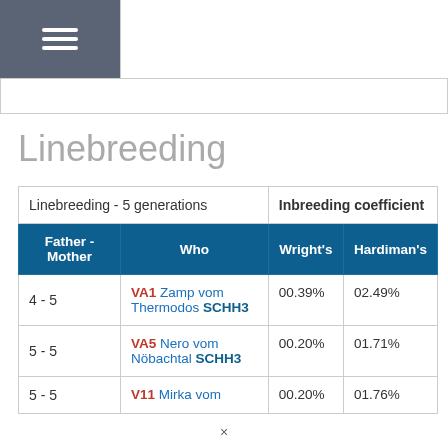☰
Linebreeding
| Linebreeding - 5 generations |  | Inbreeding coefficient |  |
| --- | --- | --- | --- |
| 4 - 5 | VA1 Zamp vom Thermodos SCHH3 | 00.39% | 02.49% |
| 5 - 5 | VA5 Nero vom Nöbachtal SCHH3 | 00.20% | 01.71% |
| 5 - 5 | V11 Mirka vom | 00.20% | 01.76% |